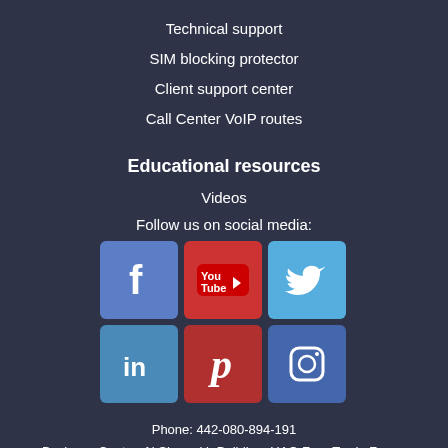Technical support
SIM blocking protector
Client support center
Call Center VoIP routes
Educational resources
Videos
Follow us on social media:
[Figure (infographic): Social media icons grid: Facebook, YouTube, Twitter (top row); LinkedIn, Pinterest, Instagram (bottom row)]
Phone: 442-080-894-191
Business Center, Al Shmookh Building, UAQ Free Trade Zone,,
Umm Al Quwain, U.A.E.,
© Flames Group. 2009-2022. All rights reserved. - Privacy policy
[Figure (logo): RSS feed icon]